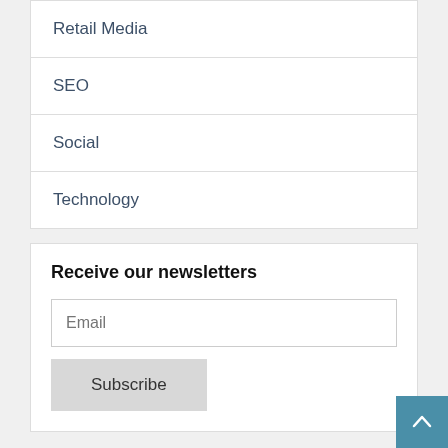Retail Media
SEO
Social
Technology
Receive our newsletters
Email
Subscribe